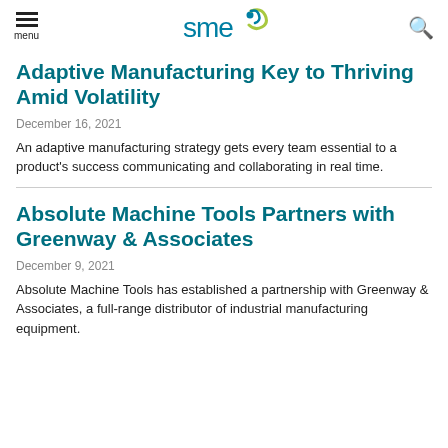SME logo, menu, search
Adaptive Manufacturing Key to Thriving Amid Volatility
December 16, 2021
An adaptive manufacturing strategy gets every team essential to a product's success communicating and collaborating in real time.
Absolute Machine Tools Partners with Greenway & Associates
December 9, 2021
Absolute Machine Tools has established a partnership with Greenway & Associates, a full-range distributor of industrial manufacturing equipment.